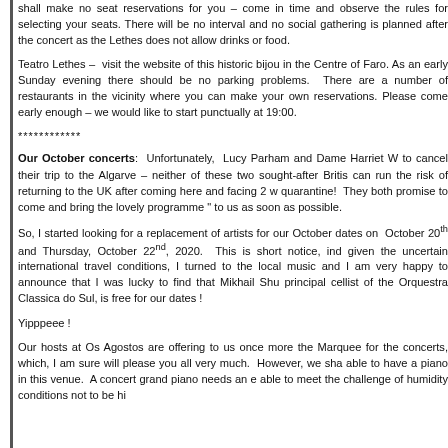shall make no seat reservations for you – come in time and observe the rules for selecting your seats. There will be no interval and no social gathering is planned after the concert as the Lethes does not allow drinks or food.
Teatro Lethes – visit the website of this historic bijou in the Centre of Faro. As an early Sunday evening there should be no parking problems. There are a number of restaurants in the vicinity where you can make your own reservations. Please come early enough – we would like to start punctually at 19:00.
************
Our October concerts: Unfortunately, Lucy Parham and Dame Harriet W to cancel their trip to the Algarve – neither of these two sought-after British can run the risk of returning to the UK after coming here and facing 2 w quarantine! They both promise to come and bring the lovely programme to us as soon as possible.
So, I started looking for a replacement of artists for our October dates on October 20th and Thursday, October 22nd, 2020. This is short notice, ind given the uncertain international travel conditions, I turned to the local music and I am very happy to announce that I was lucky to find that Mikhail Shu principal cellist of the Orquestra Classica do Sul, is free for our dates !
Yipppeee !
Our hosts at Os Agostos are offering to us once more the Marquee for the concerts, which, I am sure will please you all very much. However, we sha able to have a piano in this venue. A concert grand piano needs an e able to meet the challenge of humidity conditions not to be hi